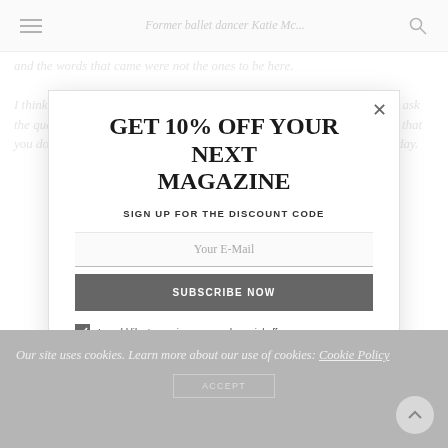Former ballet dancer Katie Mc...
and the words that came were not the ones to be here. I think it's a approach that takes. We do get a little chatty, but I'm about to ask the questions. If you don't mind. And that's not a task I don't tell. I can tell that you don't but you are the bit but close I, so it was are just having a rough day.
GET 10% OFF YOUR NEXT MAGAZINE
SIGN UP FOR THE DISCOUNT CODE
Your E-Mail
SUBSCRIBE NOW
I would like to receive news and special offers.
Our site uses cookies. Learn more about our use of cookies: Cookie Policy
ACCEPT